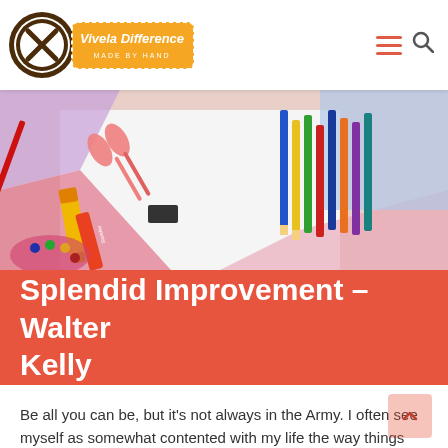Vivela Difference – Made by Hand
[Figure (photo): Overhead photo of colorful art supplies including scissors, markers, colored pencils, and erasers arranged on a white and colored paper background]
Splendid Improvement – Walter Kelly
Be all you can be, but it's not always in the Army. I often see myself as somewhat contented with my life the way things are,